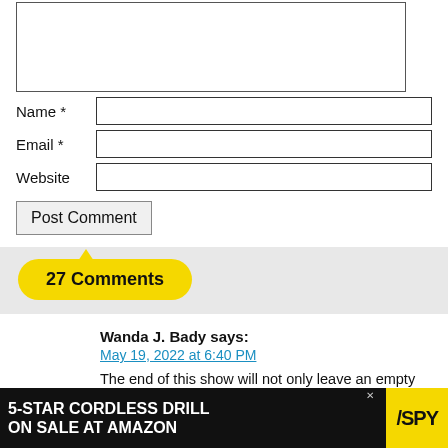[Figure (screenshot): Web form with textarea, Name, Email, Website fields and Post Comment button]
27 Comments
Wanda J. Bady says:
May 19, 2022 at 6:40 PM
The end of this show will not only leave an empty space on my Tuesday night entertainment roster, but also in my heart. Thank you 'This Is Us' for welcoming us into your lives for a fabulous six years. You will be sorely missed!
Reply
[Figure (screenshot): Advertisement banner: 5-STAR CORDLESS DRILL ON SALE AT AMAZON / SPY]